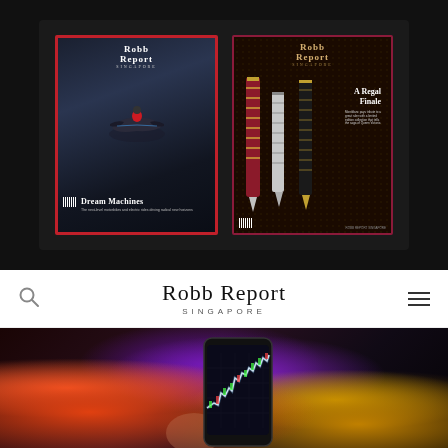[Figure (photo): Two Robb Report Singapore magazine covers side by side on dark background. Left cover shows 'Dream Machines' with a flying motorcycle/vehicle on a dark stormy sky, red border. Right cover shows 'A Regal Finale' with ornate decorative pens on dark patterned background with burgundy border.]
[Figure (logo): Robb Report Singapore website navigation bar with search icon on left, 'Robb Report SINGAPORE' logo in center, and hamburger menu icon on right, on white background.]
[Figure (photo): Blurred/bokeh photo of a smartphone displaying a financial stock chart with glowing candlestick/line chart in white/blue. Background shows colorful city lights bokeh — purples, reds, oranges, and golds.]